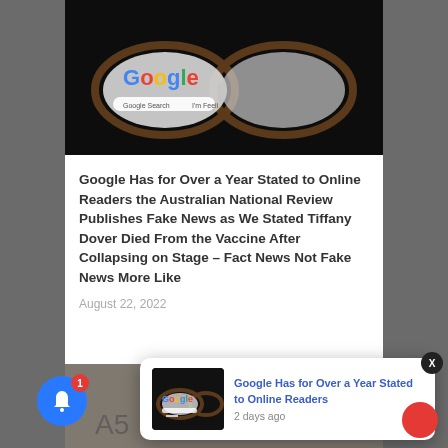[Figure (photo): Photo of glasses reflecting Google search page logo on dark background]
Google Has for Over a Year Stated to Online Readers the Australian National Review Publishes Fake News as We Stated Tiffany Dover Died From the Vaccine After Collapsing on Stage – Fact News Not Fake News More Like
August 22, 2022
[Figure (photo): Second article image partially visible at bottom]
[Figure (screenshot): Notification popup showing thumbnail of Google glasses photo with title 'Google Has for Over a Year Stated to Online Readers' and timestamp '2 days ago']